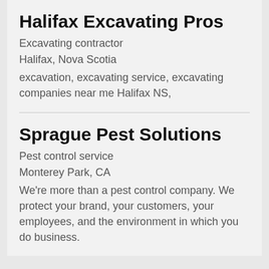Halifax Excavating Pros
Excavating contractor
Halifax, Nova Scotia
excavation, excavating service, excavating companies near me Halifax NS,
Sprague Pest Solutions
Pest control service
Monterey Park, CA
We're more than a pest control company. We protect your brand, your customers, your employees, and the environment in which you do business.